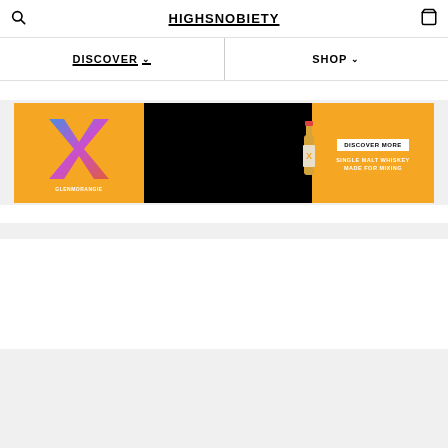HIGHSNOBIETY
DISCOVER
SHOP
[Figure (screenshot): Glenmorangie X Highsnobiety promotional banner on orange background. Left section shows a colorful X logo with GLENMORANGIE text. Center section is a black video placeholder. Right section shows a bottle of Glenmorangie whisky with a DISCOVER MORE button and text 'SINGLE MALT WHISKEY MADE FOR MIXING'.]